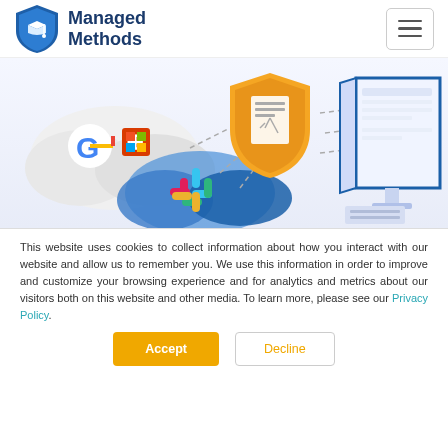Managed Methods
[Figure (illustration): Hero banner with cloud icons (Google G, Microsoft Office, Slack), a shield with a document icon, and an isometric computer monitor — illustrating cloud security monitoring.]
This website uses cookies to collect information about how you interact with our website and allow us to remember you. We use this information in order to improve and customize your browsing experience and for analytics and metrics about our visitors both on this website and other media. To learn more, please see our Privacy Policy.
Accept
Decline